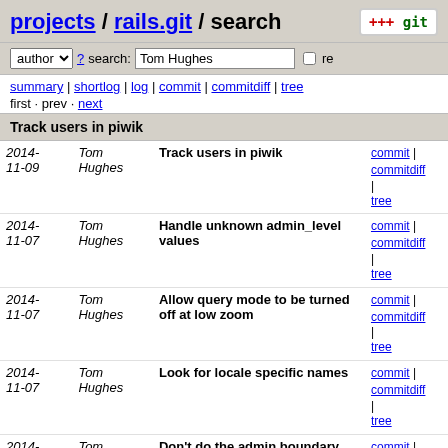projects / rails.git / search
author ? search: Tom Hughes re
summary | shortlog | log | commit | commitdiff | tree
first · prev · next
Track users in piwik
| Date | Author | Message | Links |
| --- | --- | --- | --- |
| 2014-11-09 | Tom Hughes | Track users in piwik | commit | commitdiff | tree |
| 2014-11-07 | Tom Hughes | Handle unknown admin_level values | commit | commitdiff | tree |
| 2014-11-07 | Tom Hughes | Allow query mode to be turned off at low zoom | commit | commitdiff | tree |
| 2014-11-07 | Tom Hughes | Look for locale specific names | commit | commitdiff | tree |
| 2014-11-07 | Tom Hughes | Don't do the admin boundary special case unless admin_level... | commit | commitdiff | tree |
| 2014-11-07 | Tom Hughes | Merge branch 'overpass' | commit | commitdiff | tree |
| 2014-11-05 | Tom Hughes | Don't enable query mode when loading a query URL | commit | commitdiff | tree |
| 2014-11-05 | Tom Hughes | Add comments_feed action to various filters | commit | commitdiff | tree |
| 2014-11-05 | Tom Hughes | Allow query mode to be disabled | commit | commitdiff |